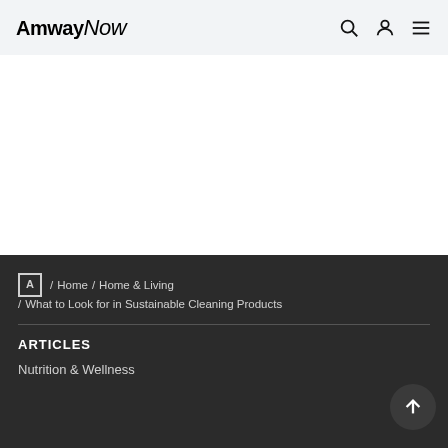AmwayNow
[Figure (screenshot): White blank content area below header]
A / Home / Home & Living / What to Look for in Sustainable Cleaning Products
ARTICLES
Nutrition & Wellness